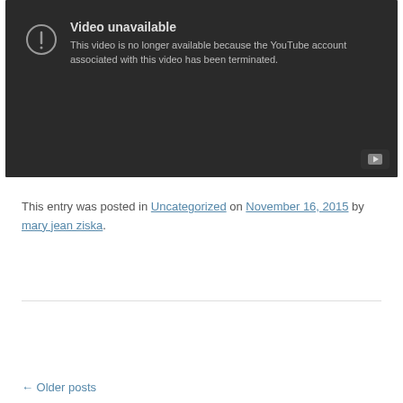[Figure (screenshot): YouTube video unavailable error screen with dark background. Shows a warning circle icon with exclamation mark, title 'Video unavailable', message 'This video is no longer available because the YouTube account associated with this video has been terminated.' YouTube play button icon in bottom right corner.]
This entry was posted in Uncategorized on November 16, 2015 by mary jean ziska.
← Older posts